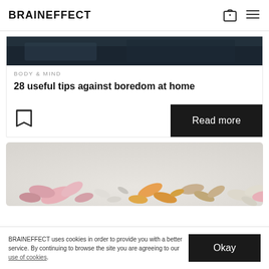BRAINEFFECT
[Figure (photo): Dark photograph showing clothing/fabric in dark tones, partially visible at top of article card]
BODY & MIND
28 useful tips against boredom at home
Read more
[Figure (photo): Assorted colorful pills and capsules (pink, orange, beige, white) scattered on a light gray background]
BRAINEFFECT uses cookies in order to provide you with a better service. By continuing to browse the site you are agreeing to our use of cookies.
Okay